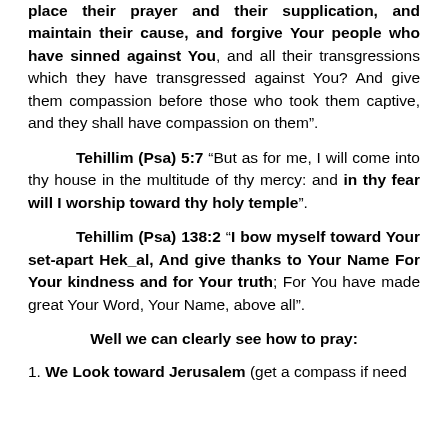place their prayer and their supplication, and maintain their cause, and forgive Your people who have sinned against You, and all their transgressions which they have transgressed against You? And give them compassion before those who took them captive, and they shall have compassion on them”.
Tehillim (Psa) 5:7 “But as for me, I will come into thy house in the multitude of thy mercy: and in thy fear will I worship toward thy holy temple”.
Tehillim (Psa) 138:2 “I bow myself toward Your set-apart Hek_al, And give thanks to Your Name For Your kindness and for Your truth; For You have made great Your Word, Your Name, above all”.
Well we can clearly see how to pray:
1. We Look toward Jerusalem (get a compass if need